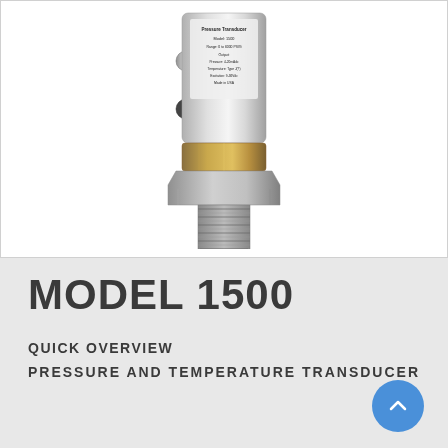[Figure (photo): Photograph of a stainless steel pressure and temperature transducer, Model 1500, showing cylindrical body with label reading: Pressure Transducer, Model: 1500, Range: 0 to 6000 PSIG, Output: Pressure: 4-20mAdc, Temperature: Type J(?), Excitation: 9-36Vdc, Made in USA. The device has a hex fitting and threaded NPT male connector at the bottom.]
MODEL 1500
QUICK OVERVIEW
PRESSURE AND TEMPERATURE TRANSDUCER